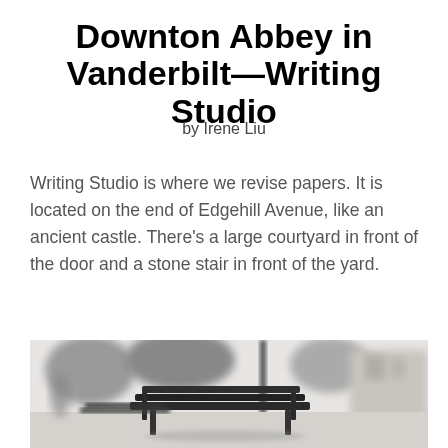Downton Abbey in Vanderbilt—Writing Studio
by Irene Liu
Writing Studio is where we revise papers. It is located on the end of Edgehill Avenue, like an ancient castle. There's a large courtyard in front of the door and a stone stair in front of the yard.
[Figure (photo): Black and white photograph of an outdoor courtyard scene with benches in the foreground and blurred trees and buildings in the background.]